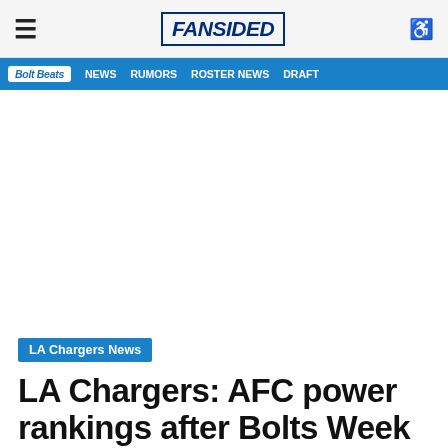≡  FANSIDED  ♿
Bolt Beats | News | Rumors | Roster News | Draft
[Figure (other): Advertisement / blank white space placeholder]
LA Chargers News
LA Chargers: AFC power rankings after Bolts Week